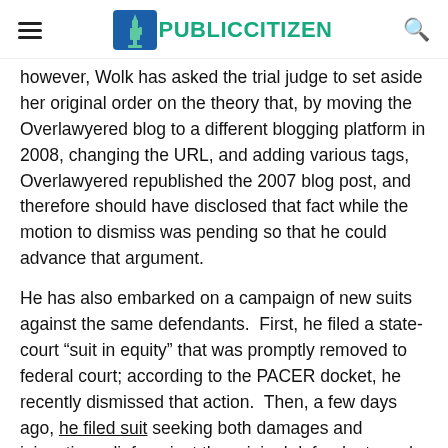PUBLIC CITIZEN
however, Wolk has asked the trial judge to set aside her original order on the theory that, by moving the Overlawyered blog to a different blogging platform in 2008, changing the URL, and adding various tags, Overlawyered republished the 2007 blog post, and therefore should have disclosed that fact while the motion to dismiss was pending so that he could advance that argument.
He has also embarked on a campaign of new suits against the same defendants.  First, he filed a state-court “suit in equity” that was promptly removed to federal court; according to the PACER docket, he recently dismissed that action.  Then, a few days ago, he filed suit seeking both damages and injunctive relief against the original defendants and others, complaining that they failed to remove their original